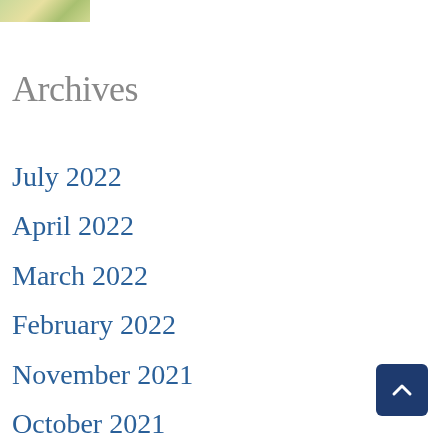[Figure (photo): Partial image crop at top left, appears to show a floral or nature photo in greens and yellows]
Archives
July 2022
April 2022
March 2022
February 2022
November 2021
October 2021
March 2021
October 2020